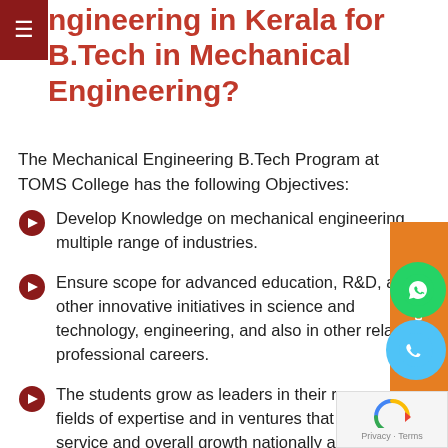ngineering in Kerala for B.Tech in Mechanical Engineering?
The Mechanical Engineering B.Tech Program at TOMS College has the following Objectives:
Develop Knowledge on mechanical engineering multiple range of industries.
Ensure scope for advanced education, R&D, and other innovative initiatives in science and technology, engineering, and also in other related professional careers.
The students grow as leaders in their respective fields of expertise and in ventures that support service and overall growth nationally and around the world.